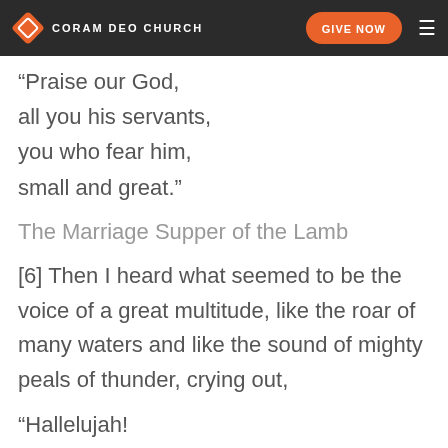[5] And from the throne came a voice saying
CORAM DEO CHURCH  GIVE NOW
“Praise our God,
all you his servants,
you who fear him,
small and great.”
The Marriage Supper of the Lamb
[6] Then I heard what seemed to be the voice of a great multitude, like the roar of many waters and like the sound of mighty peals of thunder, crying out,
“Hallelujah!